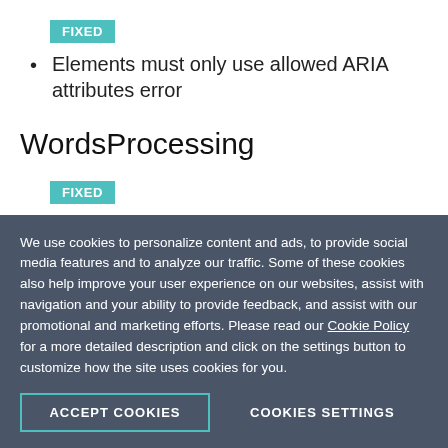FIXED
Elements must only use allowed ARIA attributes error
WordsProcessing
FIXED
PdfFormatProvider: Wrongly exported table width when table preferred width is set to Fixed and it is
We use cookies to personalize content and ads, to provide social media features and to analyze our traffic. Some of these cookies also help improve your user experience on our websites, assist with navigation and your ability to provide feedback, and assist with our promotional and marketing efforts. Please read our Cookie Policy for a more detailed description and click on the settings button to customize how the site uses cookies for you.
ACCEPT COOKIES
COOKIES SETTINGS